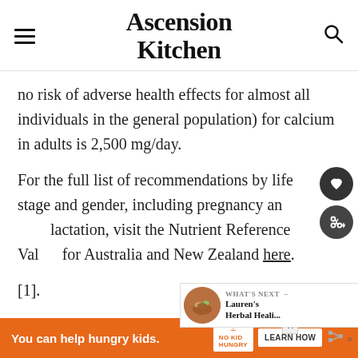Ascension Kitchen
no risk of adverse health effects for almost all individuals in the general population) for calcium in adults is 2,500 mg/day.
For the full list of recommendations by life stage and gender, including pregnancy and lactation, visit the Nutrient Reference Values for Australia and New Zealand here.
[1].
[Figure (other): Advertisement banner: 'You can help hungry kids.' No Kid Hungry logo and LEARN HOW button on orange background]